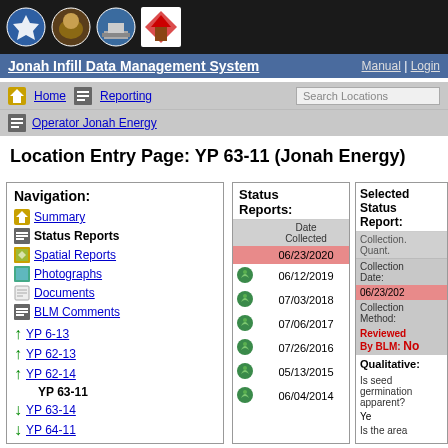[Figure (screenshot): Government agency logos in dark header bar]
Jonah Infill Data Management System | Manual | Login
Home | Reporting | Search Locations
Operator Jonah Energy
Location Entry Page: YP 63-11 (Jonah Energy)
| Navigation: |
| --- |
| Summary |
| Status Reports |
| Spatial Reports |
| Photographs |
| Documents |
| BLM Comments |
| YP 6-13 |
| YP 62-13 |
| YP 62-14 |
| YP 63-11 |
| YP 63-14 |
| YP 64-11 |
| Status Reports: | Date Collected |
| --- | --- |
|  | 06/23/2020 |
| leaf | 06/12/2019 |
| leaf | 07/03/2018 |
| leaf | 07/06/2017 |
| leaf | 07/26/2016 |
| leaf | 05/13/2015 |
| leaf | 06/04/2014 |
| Selected Status Report: | Quant. |
| --- | --- |
| Collection Date: | 06/23/2020 |
| Collection Method: |  |
| Reviewed By BLM: | No |
| Qualitative: |  |
| Is seed germination apparent? | Yes |
| Is the area... |  |